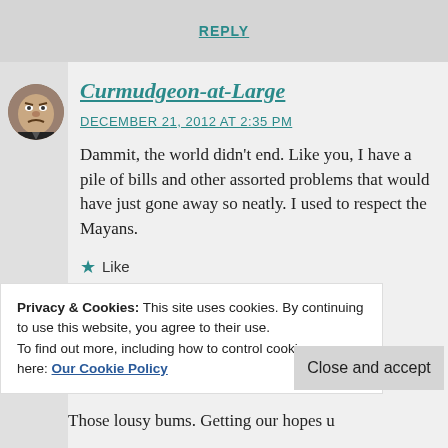REPLY
Curmudgeon-at-Large
DECEMBER 21, 2012 AT 2:35 PM
Dammit, the world didn't end. Like you, I have a pile of bills and other assorted problems that would have just gone away so neatly. I used to respect the Mayans.
★ Like
REPLY
Privacy & Cookies: This site uses cookies. By continuing to use this website, you agree to their use.
To find out more, including how to control cookies, see here: Our Cookie Policy
Close and accept
Those lousy bums. Getting our hopes u...